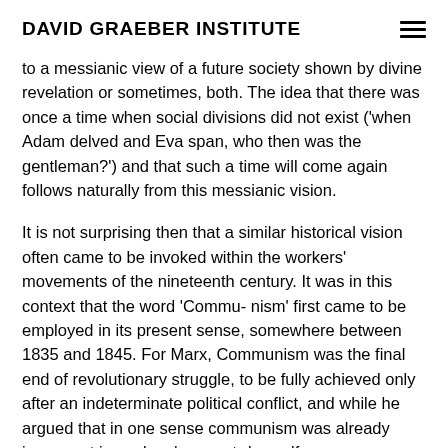DAVID GRAEBER INSTITUTE
to a messianic view of a future society shown by divine revelation or sometimes, both. The idea that there was once a time when social divisions did not exist ('when Adam delved and Eva span, who then was the gentleman?') and that such a time will come again follows naturally from this messianic vision.
It is not surprising then that a similar historical vision often came to be invoked within the workers' movements of the nineteenth century. It was in this context that the word 'Commu- nism' first came to be employed in its present sense, somewhere between 1835 and 1845. For Marx, Communism was the final end of revolutionary struggle, to be fully achieved only after an indeterminate political conflict, and while he argued that in one sense communism was already immanent in workers' present-day self-